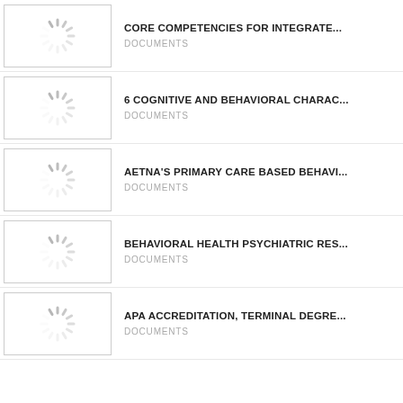CORE COMPETENCIES FOR INTEGRATE...
DOCUMENTS
6 COGNITIVE AND BEHAVIORAL CHARAC...
DOCUMENTS
AETNA'S PRIMARY CARE BASED BEHAVI...
DOCUMENTS
BEHAVIORAL HEALTH PSYCHIATRIC RES...
DOCUMENTS
APA ACCREDITATION, TERMINAL DEGRE...
DOCUMENTS